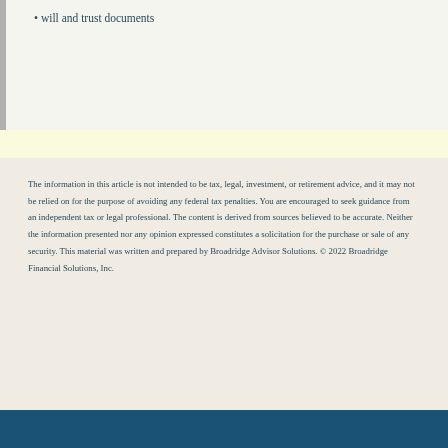will and trust documents
The information in this article is not intended to be tax, legal, investment, or retirement advice, and it may not be relied on for the purpose of avoiding any federal tax penalties. You are encouraged to seek guidance from an independent tax or legal professional. The content is derived from sources believed to be accurate. Neither the information presented nor any opinion expressed constitutes a solicitation for the purchase or sale of any security. This material was written and prepared by Broadridge Advisor Solutions. © 2022 Broadridge Financial Solutions, Inc.